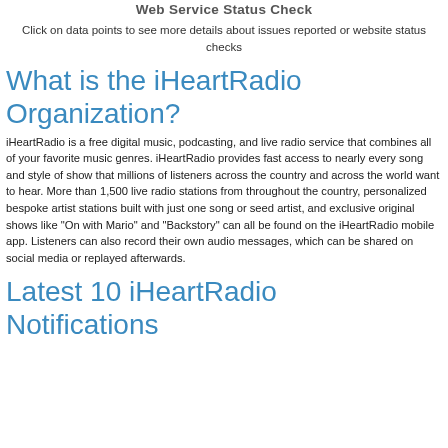Web Service Status Check
Click on data points to see more details about issues reported or website status checks
What is the iHeartRadio Organization?
iHeartRadio is a free digital music, podcasting, and live radio service that combines all of your favorite music genres. iHeartRadio provides fast access to nearly every song and style of show that millions of listeners across the country and across the world want to hear. More than 1,500 live radio stations from throughout the country, personalized bespoke artist stations built with just one song or seed artist, and exclusive original shows like "On with Mario" and "Backstory" can all be found on the iHeartRadio mobile app. Listeners can also record their own audio messages, which can be shared on social media or replayed afterwards.
Latest 10 iHeartRadio Notifications